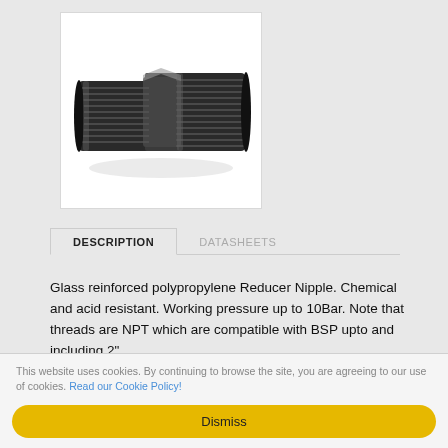[Figure (photo): Glass reinforced polypropylene Reducer Nipple — a dark gray/black threaded pipe fitting with male threads on both ends and a hexagonal center nut, photographed on a white background.]
DESCRIPTION
DATASHEETS
Glass reinforced polypropylene Reducer Nipple. Chemical and acid resistant. Working pressure up to 10Bar. Note that threads are NPT which are compatible with BSP upto and including 2".
This website uses cookies. By continuing to browse the site, you are agreeing to our use of cookies. Read our Cookie Policy!
Dismiss